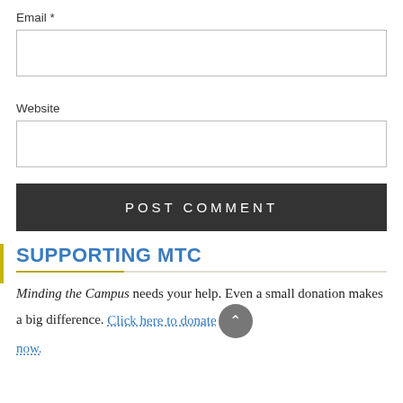Email *
[Figure (other): Empty email input text field]
Website
[Figure (other): Empty website input text field]
POST COMMENT
SUPPORTING MTC
Minding the Campus needs your help. Even a small donation makes a big difference. Click here to donate now.